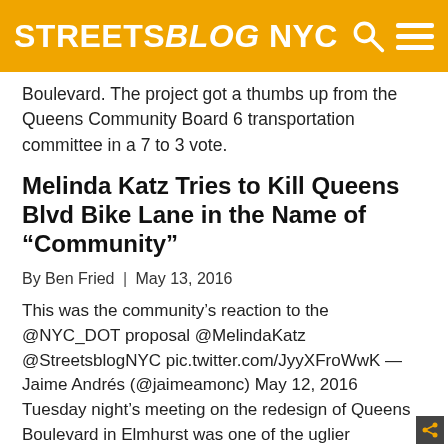STREETSBLOG NYC
Boulevard. The project got a thumbs up from the Queens Community Board 6 transportation committee in a 7 to 3 vote.
Melinda Katz Tries to Kill Queens Blvd Bike Lane in the Name of “Community”
By Ben Fried | May 13, 2016
This was the community’s reaction to the @NYC_DOT proposal @MelindaKatz @StreetsblogNYC pic.twitter.com/JyyXFroWwK — Jaime Andrés (@jaimeamonc) May 12, 2016 Tuesday night’s meeting on the redesign of Queens Boulevard in Elmhurst was one of the uglier exercises in petty community board obstructionism in recent memory. Queens Community Board 4 District Manager Christian Cassagnol said the safety of cyclists [...]